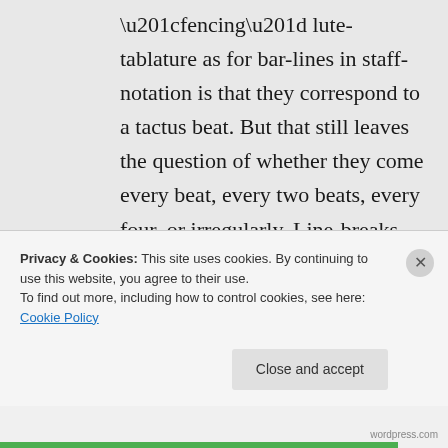“fencing” lute-tablature as for bar-lines in staff-notation is that they correspond to a tactus beat. But that still leaves the question of whether they come every beat, every two beats, every four, or irregularly. Line-breaks tend to behave similarly.
Italian renaissance commentaries on ancient philosophers make it
Privacy & Cookies: This site uses cookies. By continuing to use this website, you agree to their use. To find out more, including how to control cookies, see here: Cookie Policy